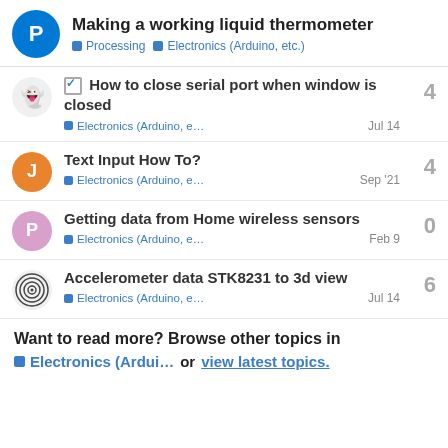Making a working liquid thermometer | Processing | Electronics (Arduino, etc.)
How to close serial port when window is closed — Electronics (Arduino, e… — Jul 14 — 4 replies
Text Input How To? — Electronics (Arduino, e… — Sep '21 — 4 replies
Getting data from Home wireless sensors — Electronics (Arduino, e… — Feb 9 — 0 replies
Accelerometer data STK8231 to 3d view — Electronics (Arduino, e… — Jul 14 — 6 replies
Want to read more? Browse other topics in Electronics (Ardui… or view latest topics.